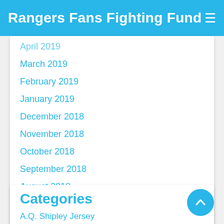Rangers Fans Fighting Fund
March 2019
February 2019
January 2019
December 2018
November 2018
October 2018
September 2018
August 2018
July 2018
June 2018
May 2018
Categories
A.Q. Shipley Jersey
Aaron Nola Jersey